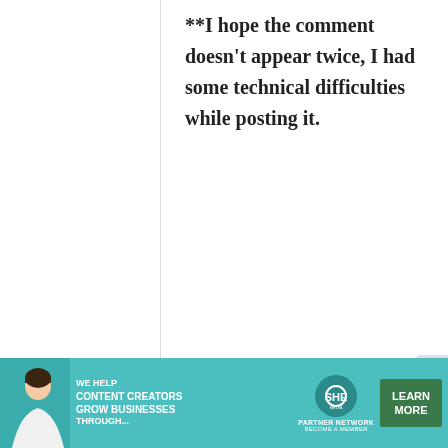**I hope the comment doesn't appear twice, I had some technical difficulties while posting it.
Myrgon
11 September, 2009 - 04:25
permalink
Re: Book review and giveaway: Izakaya, the Japanese...
[Figure (infographic): Advertisement banner for SHE Media Partner Network reading 'WE HELP CONTENT CREATORS GROW BUSINESSES THROUGH...' with a LEARN MORE button]